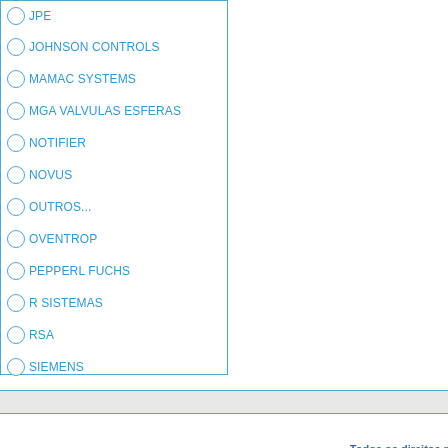JPE
JOHNSON CONTROLS
MAMAC SYSTEMS
MGA VALVULAS ESFERAS
NOTIFIER
NOVUS
OUTROS...
OVENTROP
PEPPERL FUCHS
R SISTEMAS
RSA
SIEMENS
TESTO
VALLOUREC
VSI
WEG
Todos os direitos r